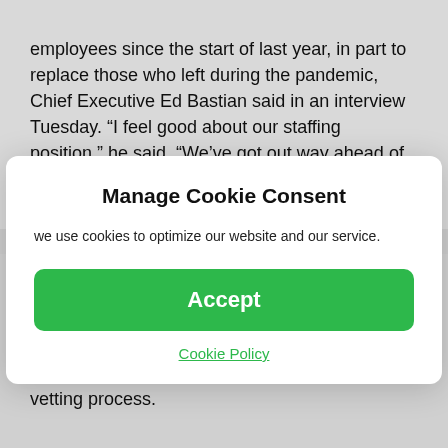employees since the start of last year, in part to replace those who left during the pandemic, Chief Executive Ed Bastian said in an interview Tuesday. “I feel good about our staffing position,” he said. “We’ve got out way ahead of this.”
Manage Cookie Consent
we use cookies to optimize our website and our service.
Accept
Cookie Policy
lanes can be opened, and an executive warned passengers should prepare to wait as long as 90 minutes over the next few months as it recruits new staff and puts each through a government vetting process.